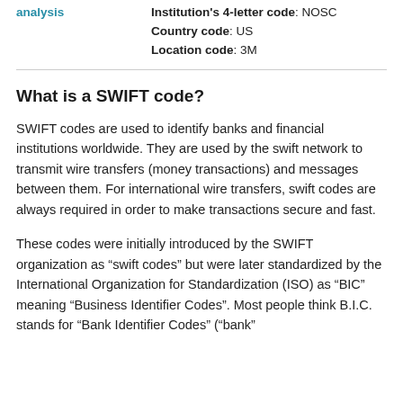analysis
Institution's 4-letter code: NOSC
Country code: US
Location code: 3M
What is a SWIFT code?
SWIFT codes are used to identify banks and financial institutions worldwide. They are used by the swift network to transmit wire transfers (money transactions) and messages between them. For international wire transfers, swift codes are always required in order to make transactions secure and fast.
These codes were initially introduced by the SWIFT organization as “swift codes” but were later standardized by the International Organization for Standardization (ISO) as “BIC” meaning “Business Identifier Codes”. Most people think B.I.C. stands for “Bank Identifier Codes” (“bank”